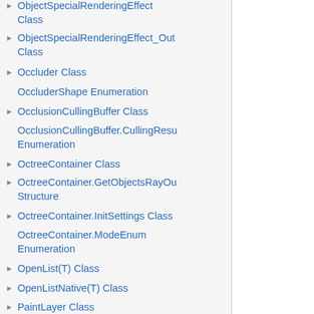ObjectSpecialRenderingEffect Class
ObjectSpecialRenderingEffect_Out Class
Occluder Class
OccluderShape Enumeration
OcclusionCullingBuffer Class
OcclusionCullingBuffer.CullingResult Enumeration
OctreeContainer Class
OctreeContainer.GetObjectsRayOut Structure
OctreeContainer.InitSettings Class
OctreeContainer.ModeEnum Enumeration
OpenList(T) Class
OpenListNative(T) Class
PaintLayer Class
PaintLayer.BlendModeEnum Enumeration
PaintLayer.MaskFormatEnum Enumeration